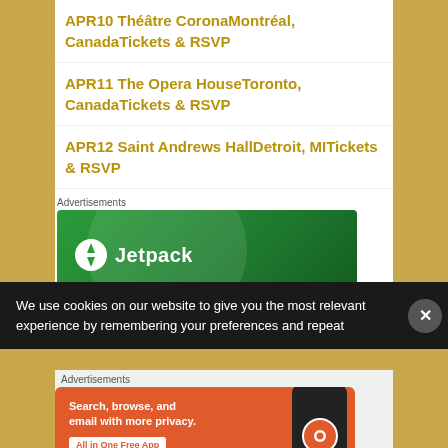APR10 Théâtre CoronaMontréal, CanadaTickets & RSVP
APR11 The Opera HouseToronto, CanadaTickets & RSVP
APR12 Saint Andrews HallDetroit, MITickets & RSVP
Advertisements
[Figure (screenshot): Jetpack advertisement banner with green background and Jetpack logo]
We use cookies on our website to give you the most relevant experience by remembering your preferences and repeat
Advertisements
[Figure (screenshot): DuckDuckGo advertisement: Search, browse, and email with more privacy. All in One Free App]